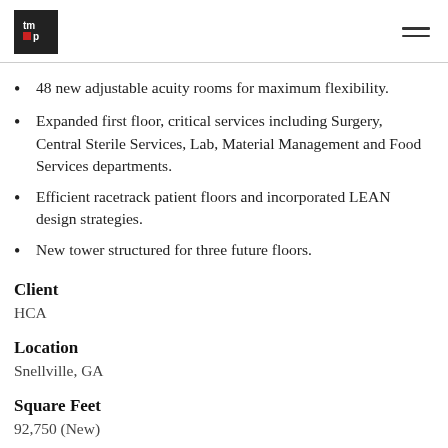tmp logo and navigation
48 new adjustable acuity rooms for maximum flexibility.
Expanded first floor, critical services including Surgery, Central Sterile Services, Lab, Material Management and Food Services departments.
Efficient racetrack patient floors and incorporated LEAN design strategies.
New tower structured for three future floors.
Client
HCA
Location
Snellville, GA
Square Feet
92,750 (New)